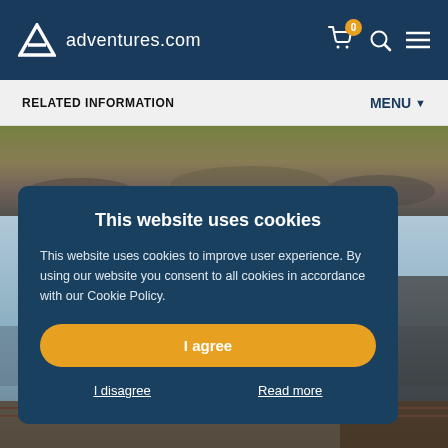adventures.com
RELATED INFORMATION
MENU
[Figure (photo): Scenic outdoor photo with rocky terrain and green vegetation at top of page]
[Figure (photo): Coastal Iceland scenery with a small yellow-orange building/lighthouse and rocky shores, partially obscured by cookie modal]
This website uses cookies
This website uses cookies to improve user experience. By using our website you consent to all cookies in accordance with our Cookie Policy.
I agree
I disagree
Read more